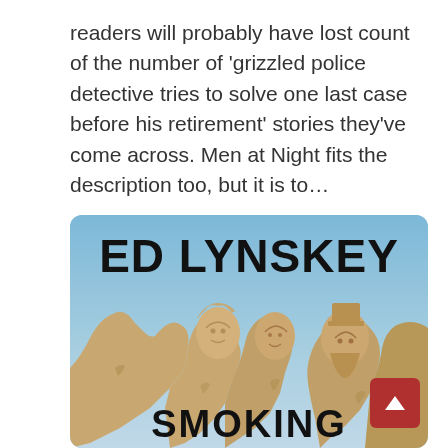readers will probably have lost count of the number of 'grizzled police detective tries to solve one last case before his retirement' stories they've come across. Men at Night fits the description too, but it is to…
[Figure (photo): Book cover for 'Smoking' by Ed Lynskey, featuring Mount Rushmore in the background with the author name 'ED LYNSKEY' at the top in bold black text and 'SMOKING' partially visible at the bottom.]